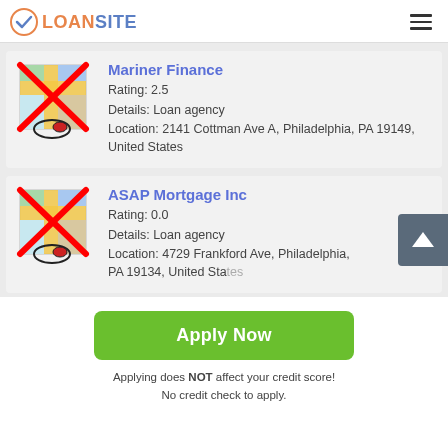LOANSITE
Mariner Finance
Rating: 2.5
Details: Loan agency
Location: 2141 Cottman Ave A, Philadelphia, PA 19149, United States
ASAP Mortgage Inc
Rating: 0.0
Details: Loan agency
Location: 4729 Frankford Ave, Philadelphia, PA 19134, United States
Apply Now
Applying does NOT affect your credit score!
No credit check to apply.